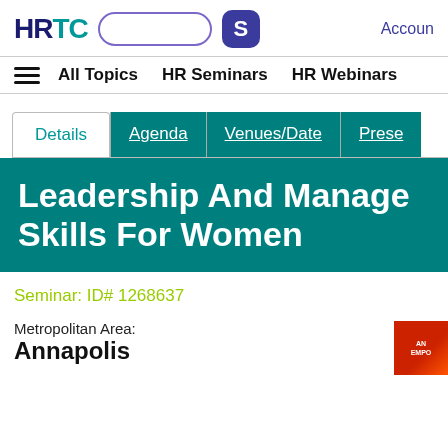HRTC [search box] [S button] Accoun...
All Topics  HR Seminars  HR Webinars
Details  Agenda  Venues/Date  Prese...
Leadership And Manage... Skills For Women
Seminar: ID# 1268637
Metropolitan Area:
Annapolis